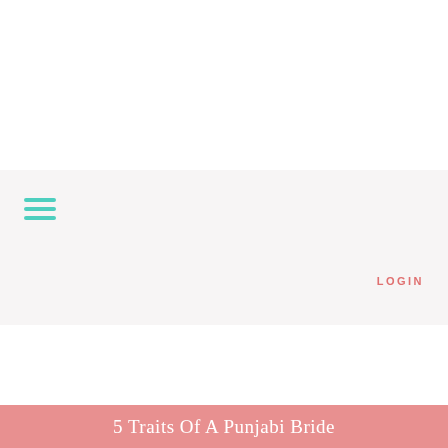LOGIN
5 Traits Of A Punjabi Bride